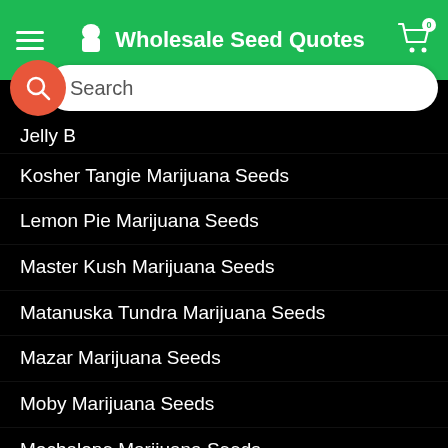Wholesale Seed Quotes
Jelly B[...] (partial)
Kosher Tangie Marijuana Seeds
Lemon Pie Marijuana Seeds
Master Kush Marijuana Seeds
Matanuska Tundra Marijuana Seeds
Mazar Marijuana Seeds
Moby Marijuana Seeds
Mochalope Marijuana Seeds
Northern Lights Marijuana Seeds
NYC Diesel Marijuana Seeds
OG Kush Marijuana Seeds
Papas Candy Marijuana Seeds
Pineapple Skunk Marijuana Seeds
Purple Thai Marijuana Seeds
Regular Marijuana Seeds